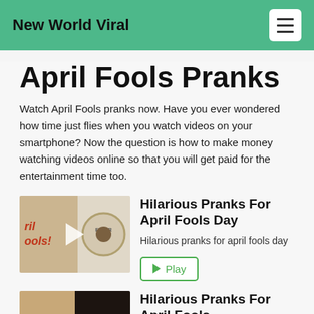New World Viral
April Fools Pranks
Watch April Fools pranks now. Have you ever wondered how time just flies when you watch videos on your smartphone? Now the question is how to make money watching videos online so that you will get paid for the entertainment time too.
[Figure (photo): Thumbnail image showing toilet paper roll with 'EXPERT' text and 'April Fools!' handwritten note, with play button overlay]
Hilarious Pranks For April Fools Day
Hilarious pranks for april fools day
Play
[Figure (photo): Second thumbnail image — partial view of similar April Fools prank content]
Hilarious Pranks For April Fools